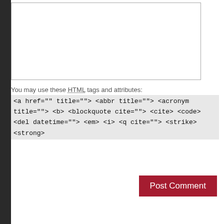You may use these HTML tags and attributes: <a href="" title=""> <abbr title=""> <acronym title=""> <b> <blockquote cite=""> <cite> <code> <del datetime=""> <em> <i> <q cite=""> <strike> <strong>
Post Comment